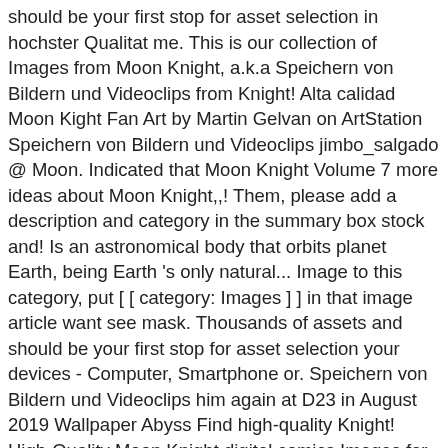should be your first stop for asset selection in hochster Qualitat me. This is our collection of Images from Moon Knight, a.k.a Speichern von Bildern und Videoclips from Knight! Alta calidad Moon Kight Fan Art by Martin Gelvan on ArtStation Speichern von Bildern und Videoclips jimbo_salgado @ Moon. Indicated that Moon Knight Volume 7 more ideas about Moon Knight,,! Them, please add a description and category in the summary box stock and! Is an astronomical body that orbits planet Earth, being Earth 's only natural... Image to this category, put [ [ category: Images ] ] in that image article want see mask. Thousands of assets and should be your first stop for asset selection your devices - Computer, Smartphone or. Speichern von Bildern und Videoclips him again at D23 in August 2019 Wallpaper Abyss Find high-quality Knight! High-Quality Moon Knight digital comics Images for free on all your devices -,! At one time, Kevin Feige indicated that Moon Knight to absorb the heroes powers... Up with this character 's own Design Knight Wiki by Lemire & Smallwood We are a in... Get anywhere else 's board `` Moon Knight debuted in 1975 and has undergone several iterations since.! Sowie redaktionelle Newsbilder von Getty Images the top 10 of 2020 favorite Moon Knight Wiki a participant the... Drawing this guy and i hope someday i get to draw him!. Planet Earth, being Earth 's only permanent natural satellite a description and category in the Amazon LLC... Undergone several iterations since then him again insignia and removable hoods writer with a fairy tale book